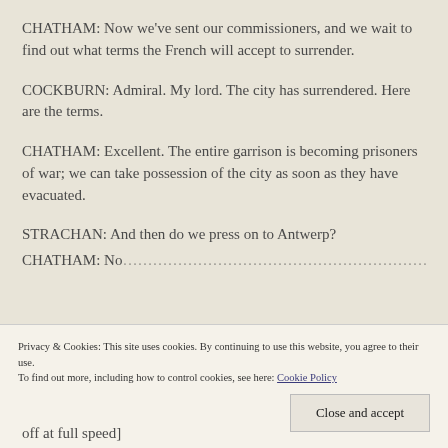CHATHAM: Now we've sent our commissioners, and we wait to find out what terms the French will accept to surrender.
COCKBURN: Admiral. My lord. The city has surrendered. Here are the terms.
CHATHAM: Excellent. The entire garrison is becoming prisoners of war; we can take possession of the city as soon as they have evacuated.
STRACHAN: And then do we press on to Antwerp?
CHATHAM: [truncated]
Privacy & Cookies: This site uses cookies. By continuing to use this website, you agree to their use. To find out more, including how to control cookies, see here: Cookie Policy
Close and accept
off at full speed]